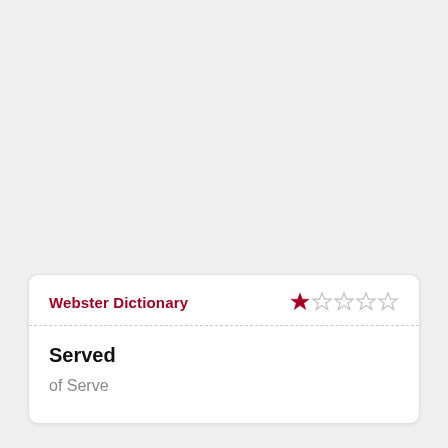Webster Dictionary
[Figure (other): Star rating widget showing 1 out of 5 stars, with first star filled in dark red and remaining four stars as empty outlines]
Served
of Serve